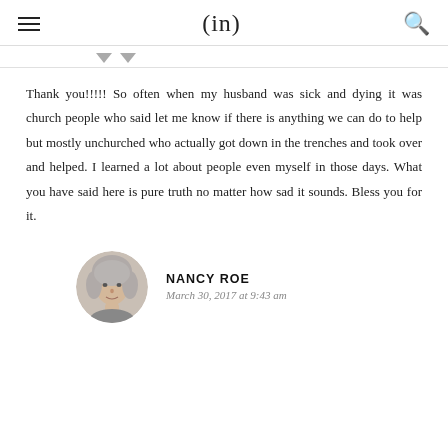(in)
Thank you!!!!! So often when my husband was sick and dying it was church people who said let me know if there is anything we can do to help but mostly unchurched who actually got down in the trenches and took over and helped. I learned a lot about people even myself in those days. What you have said here is pure truth no matter how sad it sounds. Bless you for it.
NANCY ROE
March 30, 2017 at 9:43 am